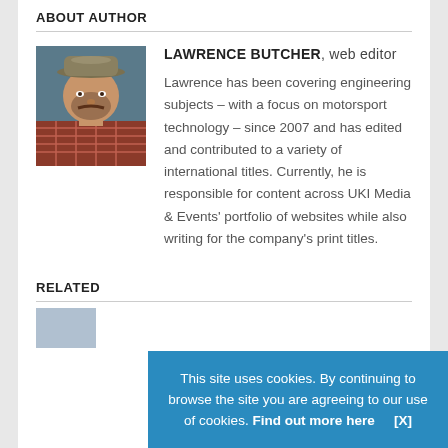ABOUT AUTHOR
[Figure (photo): Portrait photo of Lawrence Butcher, a man wearing a flat cap and plaid shirt]
LAWRENCE BUTCHER, web editor
Lawrence has been covering engineering subjects – with a focus on motorsport technology – since 2007 and has edited and contributed to a variety of international titles. Currently, he is responsible for content across UKI Media & Events' portfolio of websites while also writing for the company's print titles.
RELATED
This site uses cookies. By continuing to browse the site you are agreeing to our use of cookies. Find out more here   [X]